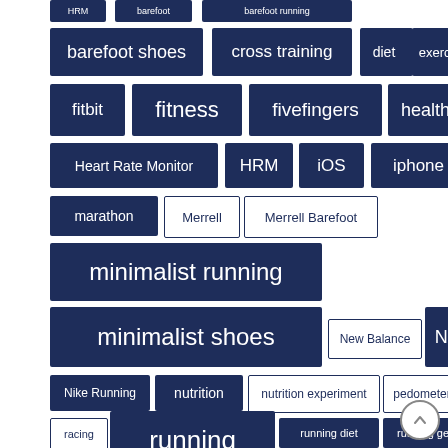[Figure (infographic): Tag cloud of running, fitness, and health related tags displayed as dark blue rectangular badges with white text, varying in font size to indicate frequency/importance. Tags include: barefoot, barefoot running, barefoot shoes, cross training, diet, exercise, fitbit, fitness, fivefingers, health, Heart Rate Monitor, HRM, iOS, iphone, marathon, Merrell, Merrell Barefoot, minimalist running, minimalist shoes, New Balance, Nike+, Nike Running, nutrition, nutrition experiment, pedometer, race, racing, running, running diet, running gear, running nutrition, running science, running shoes]